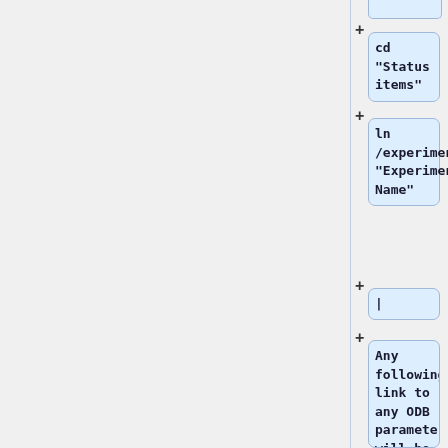[Figure (screenshot): Flowchart/tree diagram showing command steps with code boxes. Top truncated box, then a '+' with 'cd "Status items"' box, then '+' with 'ln /experiment/name "Experiment Name"' box, then '+' with cursor/empty box, then '+' with text box beginning 'Any following link to any ODB parameters will be displayed in the status page above the Equipment']
cd "Status items"
ln /experiment/name "Experiment Name"
|
Any following link to any ODB parameters will be displayed in the status page above the Equipment